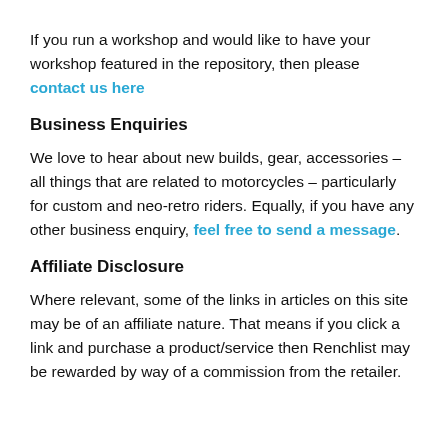If you run a workshop and would like to have your workshop featured in the repository, then please contact us here
Business Enquiries
We love to hear about new builds, gear, accessories – all things that are related to motorcycles – particularly for custom and neo-retro riders. Equally, if you have any other business enquiry, feel free to send a message.
Affiliate Disclosure
Where relevant, some of the links in articles on this site may be of an affiliate nature. That means if you click a link and purchase a product/service then Renchlist may be rewarded by way of a commission from the retailer.